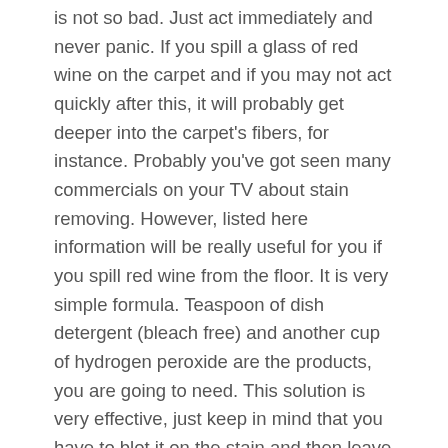is not so bad. Just act immediately and never panic. If you spill a glass of red wine on the carpet and if you may not act quickly after this, it will probably get deeper into the carpet's fibers, for instance. Probably you've got seen many commercials on your TV about stain removing. However, listed here information will be really useful for you if you spill red wine from the floor. It is very simple formula. Teaspoon of dish detergent (bleach free) and another cup of hydrogen peroxide are the products, you are going to need. This solution is very effective, just keep in mind that you have to blot it on the stain and then leave it for several minutes. The simplest way to maintain your carpet is through calling specialists, on the other hand.
Your carpet will seem like brand new when professional carpet cleaning companies take the situation in their hands. You should check our websites if you like hiring experts. Carpet cleaning in Pilling PR3 is very well developed company is something you would find out by going to our sites. Carpet cleaning services in Pilling PR3 are often questionable...